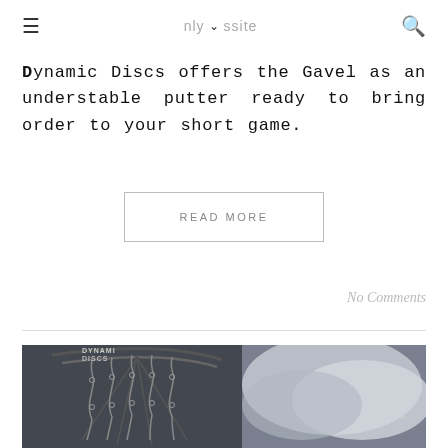≡  nly▾ssite  🔍
Dynamic Discs offers the Gavel as an understable putter ready to bring order to your short game.
READ MORE
No Comments
[Figure (photo): Close-up black and white photo of a disc golf basket/target showing metal chains and the disc golf basket frame with a dramatic cloudy sky in the background. The text 'DYNAMIC DISCS' is visible on the disc/frame.]